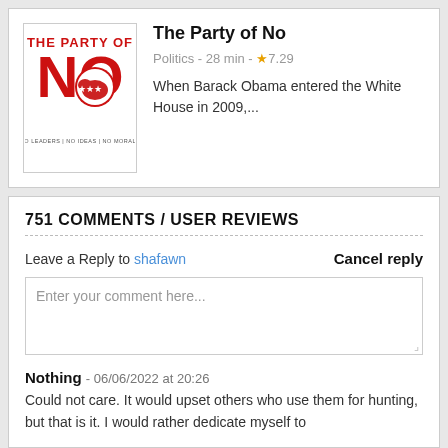[Figure (illustration): Book cover for 'The Party of No' showing bold red text 'THE PARTY OF NO' with the Republican elephant logo and text 'NO LEADERS | NO IDEAS | NO MORALS']
The Party of No
Politics - 28 min - ★7.29
When Barack Obama entered the White House in 2009,...
751 COMMENTS / USER REVIEWS
Leave a Reply to shafawn    Cancel reply
Enter your comment here...
Nothing - 06/06/2022 at 20:26
Could not care. It would upset others who use them for hunting, but that is it. I would rather dedicate myself to